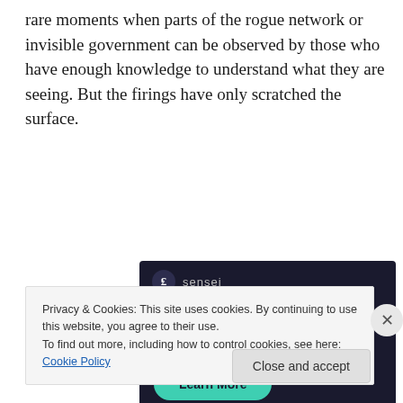rare moments when parts of the rogue network or invisible government can be observed by those who have enough knowledge to understand what they are seeing. But the firings have only scratched the surface.
[Figure (other): Advertisement for Sensei: 'Launch your online course with WordPress' with a 'Learn More' button on a dark background.]
Privacy & Cookies: This site uses cookies. By continuing to use this website, you agree to their use.
To find out more, including how to control cookies, see here: Cookie Policy